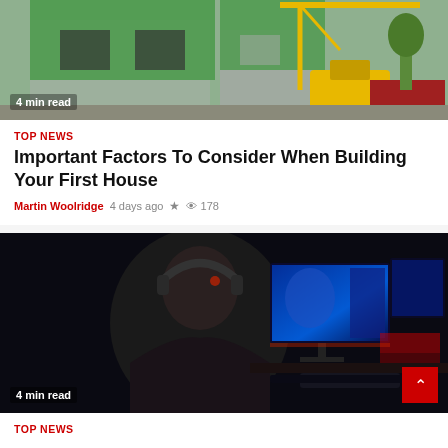[Figure (photo): Construction site with crane and green-paneled building under construction]
4 min read
TOP NEWS
Important Factors To Consider When Building Your First House
Martin Woolridge  4 days ago  178
[Figure (photo): Gamer with headset sitting in front of multiple monitors with gaming content]
4 min read
TOP NEWS
Is Online Gaming a Good Distraction?